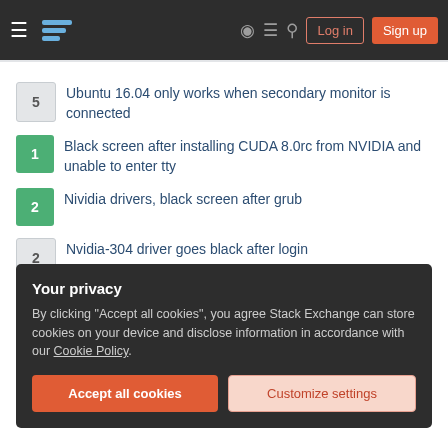Stack Exchange navigation header with Log in and Sign up buttons
5 — Ubuntu 16.04 only works when secondary monitor is connected
1 — Black screen after installing CUDA 8.0rc from NVIDIA and unable to enter tty
2 — Nividia drivers, black screen after grub
2 — Nvidia-304 driver goes black after login
See more linked questions
Related
Your privacy
By clicking "Accept all cookies", you agree Stack Exchange can store cookies on your device and disclose information in accordance with our Cookie Policy.